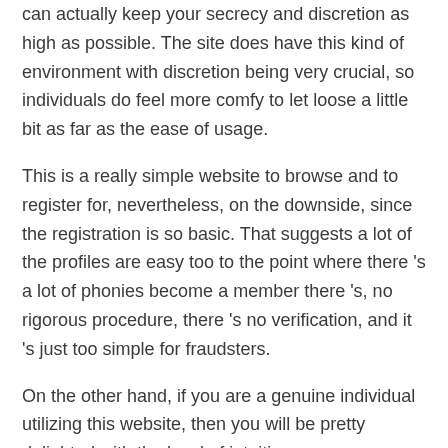can actually keep your secrecy and discretion as high as possible. The site does have this kind of environment with discretion being very crucial, so individuals do feel more comfy to let loose a little bit as far as the ease of usage.
This is a really simple website to browse and to register for, nevertheless, on the downside, since the registration is so basic. That suggests a lot of the profiles are easy too to the point where there 's a lot of phonies become a member there 's, no rigorous procedure, there 's no verification, and it 's just too simple for fraudsters.
On the other hand, if you are a genuine individual utilizing this website, then you will be pretty delighted with the level of intuitiveness.
Everything is more or less simple and self-explanatory to understand.